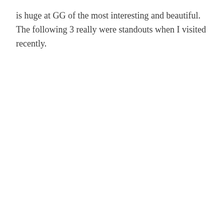is huge at GG of the most interesting and beautiful. The following 3 really were standouts when I visited recently.